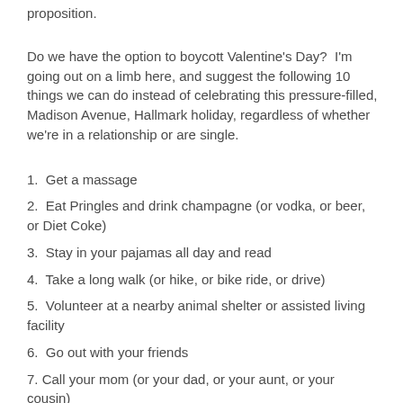proposition.
Do we have the option to boycott Valentine's Day?  I'm going out on a limb here, and suggest the following 10 things we can do instead of celebrating this pressure-filled, Madison Avenue, Hallmark holiday, regardless of whether we're in a relationship or are single.
1.  Get a massage
2.  Eat Pringles and drink champagne (or vodka, or beer, or Diet Coke)
3.  Stay in your pajamas all day and read
4.  Take a long walk (or hike, or bike ride, or drive)
5.  Volunteer at a nearby animal shelter or assisted living facility
6.  Go out with your friends
7. Call your mom (or your dad, or your aunt, or your cousin)